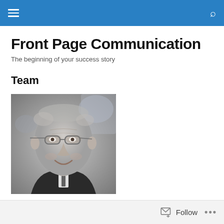Front Page Communication — navigation bar
Front Page Communication
The beginning of your success story
Team
[Figure (photo): Black and white portrait photo of an older man with glasses, smiling, wearing a suit]
Follow  •••